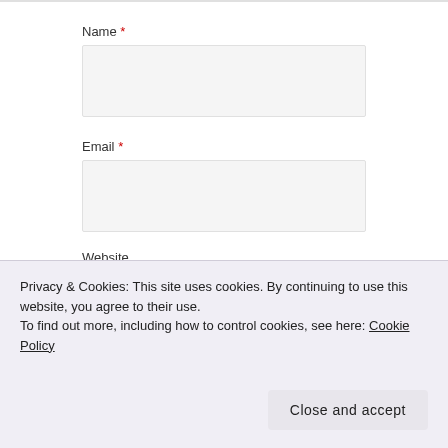Name *
[Figure (screenshot): Empty text input field for Name]
Email *
[Figure (screenshot): Empty text input field for Email]
Website
[Figure (screenshot): Empty text input field for Website]
Notify me of follow-up comments by email.
Thank you for visiting. You can
Privacy & Cookies: This site uses cookies. By continuing to use this website, you agree to their use.
To find out more, including how to control cookies, see here: Cookie Policy
Close and accept